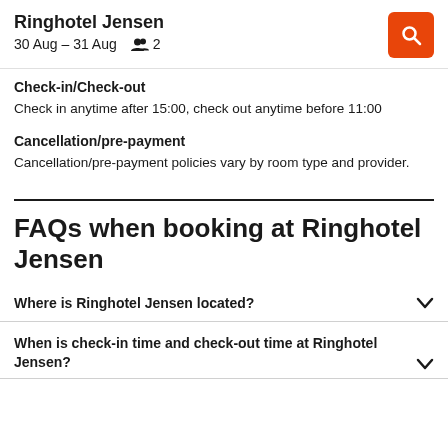Ringhotel Jensen
30 Aug – 31 Aug  👥 2
Check-in/Check-out
Check in anytime after 15:00, check out anytime before 11:00
Cancellation/pre-payment
Cancellation/pre-payment policies vary by room type and provider.
FAQs when booking at Ringhotel Jensen
Where is Ringhotel Jensen located?
When is check-in time and check-out time at Ringhotel Jensen?